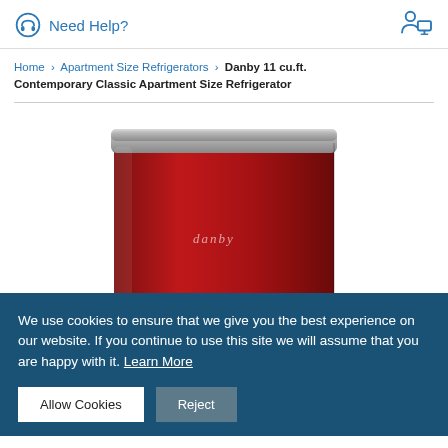Need Help?
Home > Apartment Size Refrigerators > Danby 11 cu.ft. Contemporary Classic Apartment Size Refrigerator
[Figure (photo): Red Danby 11 cu.ft. Contemporary Classic Apartment Size Refrigerator shown from an elevated angle, with a silver handle bar at top and the Danby logo on the front door.]
We use cookies to ensure that we give you the best experience on our website. If you continue to use this site we will assume that you are happy with it. Learn More
Allow Cookies
Reject